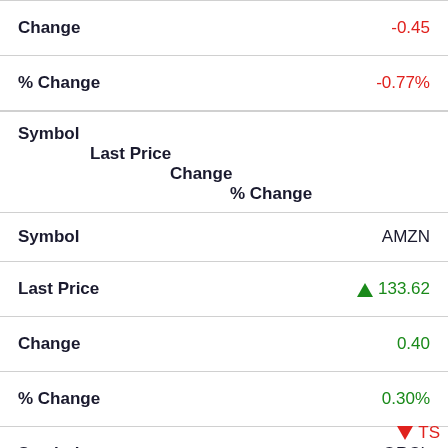| Field | Value |
| --- | --- |
| Change | -0.45 |
| % Change | -0.77% |
| Symbol |  |
| Last Price |  |
| Change |  |
| % Change | Symbol | AMZN |
| Last Price | ▲ 133.62 |
| Change | 0.40 |
| % Change | 0.30% |
| Symbol | ORCL |
| Last Price | ▼ 76.41 |